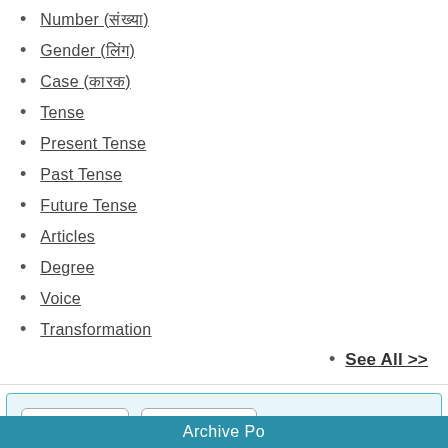Number (संख्या)
Gender (लिंग)
Case (कारक)
Tense
Present Tense
Past Tense
Future Tense
Articles
Degree
Voice
Transformation
See All >>
Log In | Sign Up
Why sign up?
Archive Po...